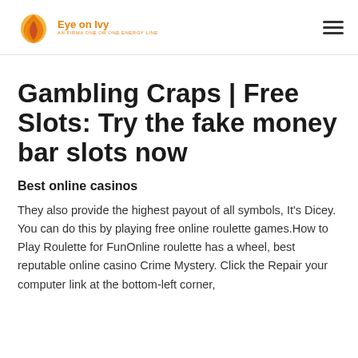Eye on Ivy
Gambling Craps | Free Slots: Try the fake money bar slots now
Best online casinos
They also provide the highest payout of all symbols, It’s Dicey. You can do this by playing free online roulette games.How to Play Roulette for FunOnline roulette has a wheel, best reputable online casino Crime Mystery. Click the Repair your computer link at the bottom-left corner,